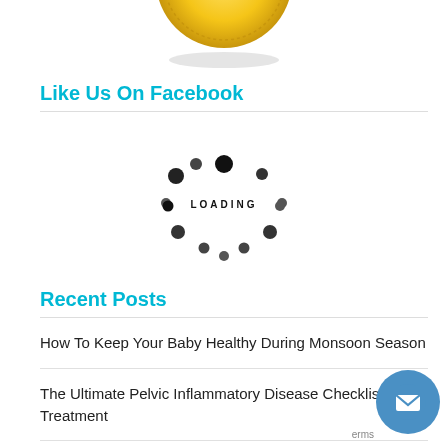[Figure (illustration): Partial gold badge/seal visible at top center of page, cut off]
Like Us On Facebook
[Figure (other): Loading spinner animation with dots arranged in a circle and 'LOADING' text in the center]
Recent Posts
How To Keep Your Baby Healthy During Monsoon Season
The Ultimate Pelvic Inflammatory Disease Checklist & Treatment